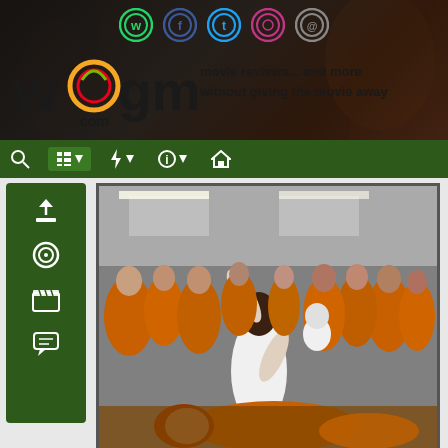[Figure (screenshot): Wogma.com website screenshot showing the header with social media icons, Wogma logo, tagline 'movie reviews... and more without giving the movie away', navigation bar, sidebar with icons, and a movie still showing prisoners in orange jumpsuits with a fight scene in what appears to be a prison.]
wogma.com — movie reviews... and more without giving the movie away